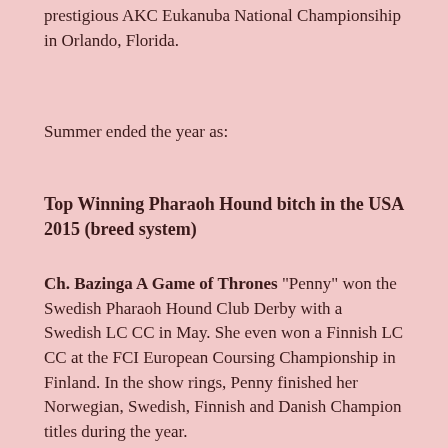prestigious AKC Eukanuba National Championship in Orlando, Florida.
Summer ended the year as:
Top Winning Pharaoh Hound bitch in the USA 2015 (breed system)
Ch. Bazinga A Game of Thrones "Penny" won the Swedish Pharaoh Hound Club Derby with a Swedish LC CC in May. She even won a Finnish LC CC at the FCI European Coursing Championship in Finland. In the show rings, Penny finished her Norwegian, Swedish, Finnish and Danish Champion titles during the year.
Ch. Bazinga A Song of Ice and Fire "Isla" (exp. Finland) had a great year in the show rings as well as on the coursing fields and racing track. She won CC, CACIB, BOB and Group 4th at the Tallinn Winner show in Estonia, gaining the Tallin W-15 title. She also went to Tromsø INT KC show in Norway, going BOB with CC and CACIB. She also went Group 1st at two group shows. She became a Finnish, Estonian and Norwegian Champion during the year. She ended in 2nd place in stiff competition at the FCI European Coursing Championship, and a